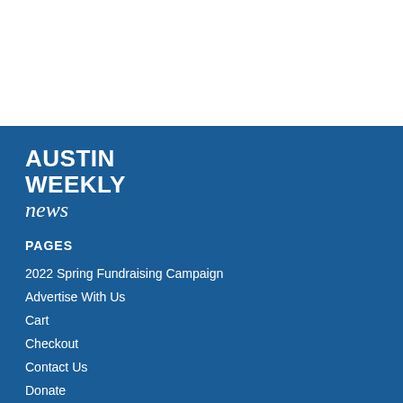[Figure (logo): Austin Weekly News logo in white text on blue background. 'AUSTIN WEEKLY' in bold uppercase sans-serif, 'news' in italic script below.]
PAGES
2022 Spring Fundraising Campaign
Advertise With Us
Cart
Checkout
Contact Us
Donate
Growing Community Media's Team